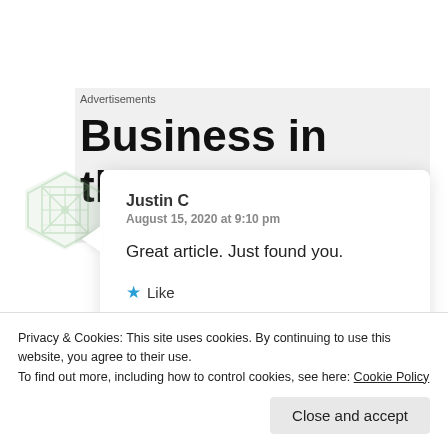Advertisements
Business in
[Figure (logo): Green geometric/lattice pattern logo icon]
Justin C
August 15, 2020 at 9:10 pm

Great article. Just found you.

★ Like

Reply
Privacy & Cookies: This site uses cookies. By continuing to use this website, you agree to their use.
To find out more, including how to control cookies, see here: Cookie Policy
Close and accept